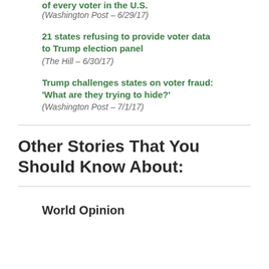of every voter in the U.S.
(Washington Post – 6/29/17)
21 states refusing to provide voter data to Trump election panel
(The Hill – 6/30/17)
Trump challenges states on voter fraud: 'What are they trying to hide?'
(Washington Post – 7/1/17)
Other Stories That You Should Know About:
World Opinion